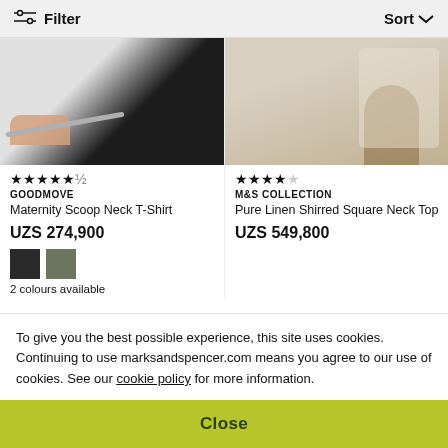Filter   Sort
[Figure (photo): Partial product photo left - Maternity Scoop Neck T-Shirt, dark clothing]
[Figure (photo): Partial product photo right - Pure Linen Shirred Square Neck Top, person on beige/cream background]
★★★★★½ GOODMOVE Maternity Scoop Neck T-Shirt UZS 274,900 2 colours available
★★★★☆ M&S COLLECTION Pure Linen Shirred Square Neck Top UZS 549,800
[Figure (photo): Partial next row product image left]
[Figure (photo): Partial next row product image right]
To give you the best possible experience, this site uses cookies. Continuing to use marksandspencer.com means you agree to our use of cookies. See our cookie policy for more information.
Close